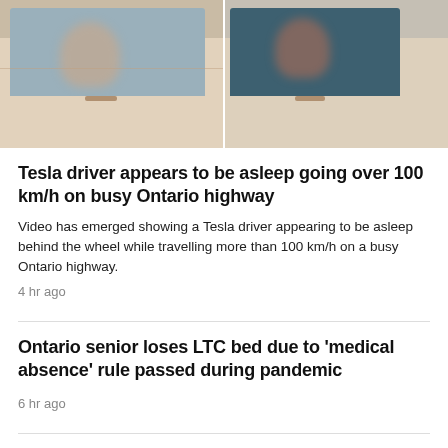[Figure (photo): Two side-by-side photos of a Tesla vehicle on a highway, showing a driver appearing to be asleep, with faces blurred.]
Tesla driver appears to be asleep going over 100 km/h on busy Ontario highway
Video has emerged showing a Tesla driver appearing to be asleep behind the wheel while travelling more than 100 km/h on a busy Ontario highway.
4 hr ago
Ontario senior loses LTC bed due to 'medical absence' rule passed during pandemic
6 hr ago
Ontario's science table members would have